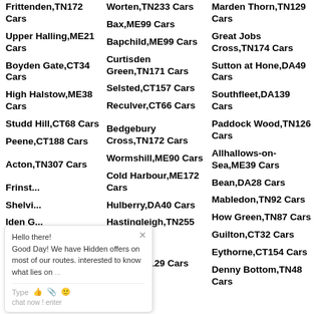Frittenden,TN172 Cars
Worten,TN233 Cars
Marden Thorn,TN129 Cars
Upper Halling,ME21 Cars
Bax,ME99 Cars
Great Jobs Cross,TN174 Cars
Boyden Gate,CT34 Cars
Bapchild,ME99 Cars
Sutton at Hone,DA49 Cars
High Halstow,ME38 Cars
Curtisden Green,TN171 Cars
Southfleet,DA139 Cars
Studd Hill,CT68 Cars
Selsted,CT157 Cars
Paddock Wood,TN126 Cars
Peene,CT188 Cars
Reculver,CT66 Cars
Allhallows-on-Sea,ME39 Cars
Acton,TN307 Cars
Bedgebury Cross,TN172 Cars
Bean,DA28 Cars
Frinsted, ... Cars
Wormshill,ME90 Cars
Mabledon,TN92 Cars
Shelvin... Cars
Cold Harbour,ME172 Cars
How Green,TN87 Cars
Iden G... Cars
Hulberry,DA40 Cars
Guilton,CT32 Cars
Upper... Cars
Hastingleigh,TN255 Cars
Eythorne,CT154 Cars
Min...p... 124 Cars
Underling Green,TN129 Cars
Denny Bottom,TN48 Cars